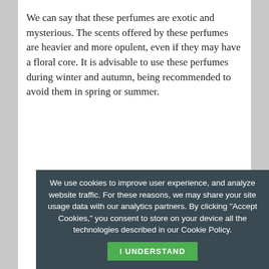We can say that these perfumes are exotic and mysterious. The scents offered by these perfumes are heavier and more opulent, even if they may have a floral core. It is advisable to use these perfumes during winter and autumn, being recommended to avoid them in spring or summer.
[Figure (photo): Marc Jacobs Decadence perfume box and bottle. Dark green box with gold 'MARC JACOBS DECADENCE' text and '30 ml' and '1.0 FL OZ' labels. Green glass bottle with black quilted cap and gold chain strap.]
We use cookies to improve user experience, and analyze website traffic. For these reasons, we may share your site usage data with our analytics partners. By clicking "Accept Cookies," you consent to store on your device all the technologies described in our Cookie Policy. I UNDERSTAND